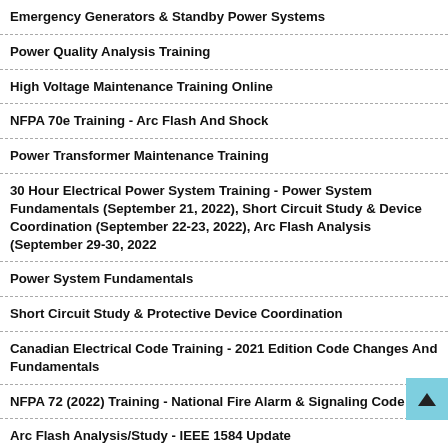Emergency Generators & Standby Power Systems
Power Quality Analysis Training
High Voltage Maintenance Training Online
NFPA 70e Training - Arc Flash And Shock
Power Transformer Maintenance Training
30 Hour Electrical Power System Training - Power System Fundamentals (September 21, 2022), Short Circuit Study & Device Coordination (September 22-23, 2022), Arc Flash Analysis (September 29-30, 2022
Power System Fundamentals
Short Circuit Study & Protective Device Coordination
Canadian Electrical Code Training - 2021 Edition Code Changes And Fundamentals
NFPA 72 (2022) Training - National Fire Alarm & Signaling Code
Arc Flash Analysis/Study - IEEE 1584 Update